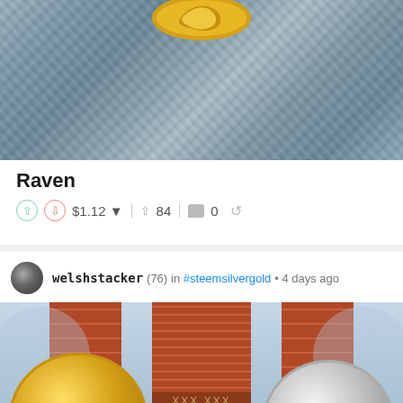[Figure (photo): Close-up photo of a gold coin raven on a textured blue-grey stone or fabric surface]
Raven
^ $1.12 ▼  |  ↑ 84  |  □ 0  |  ↺
welshstacker (76) in #steemsilvergold • 4 days ago
[Figure (photo): Photo of a gold 1oz fine coin and a silver coin with BEAUFORT markings, against a backdrop of a red brick castle/building with towers]